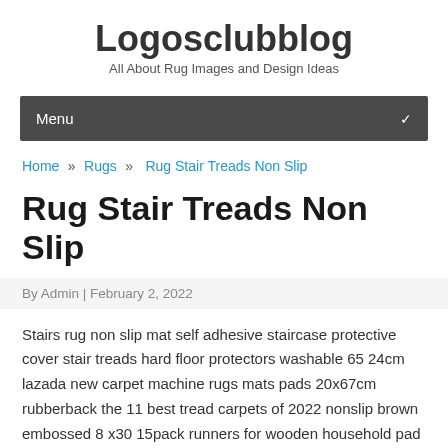Logosclubblog
All About Rug Images and Design Ideas
Menu
Home » Rugs » Rug Stair Treads Non Slip
Rug Stair Treads Non Slip
By Admin | February 2, 2022
Stairs rug non slip mat self adhesive staircase protective cover stair treads hard floor protectors washable 65 24cm lazada new carpet machine rugs mats pads 20x67cm rubberback the 11 best tread carpets of 2022 nonslip brown embossed 8 x30 15pack runners for wooden household pad step large morden 9 x 29 scroll set 4 comes in